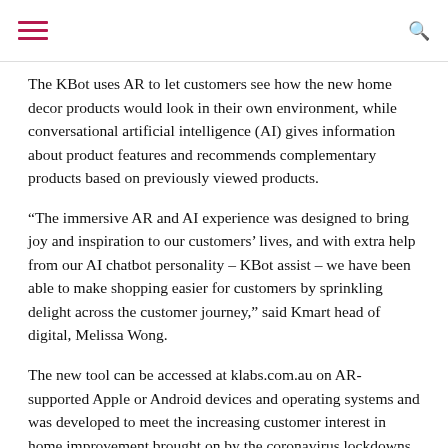The KBot uses AR to let customers see how the new home decor products would look in their own environment, while conversational artificial intelligence (AI) gives information about product features and recommends complementary products based on previously viewed products.
“The immersive AR and AI experience was designed to bring joy and inspiration to our customers’ lives, and with extra help from our AI chatbot personality – KBot assist – we have been able to make shopping easier for customers by sprinkling delight across the customer journey,” said Kmart head of digital, Melissa Wong.
The new tool can be accessed at klabs.com.au on AR-supported Apple or Android devices and operating systems and was developed to meet the increasing customer interest in home improvement brought on by the coronavirus lockdowns. Developed in just three weeks, the Kmart, Oracle and VALIS teams completed the majority of work on the project remotely using online collaboration tools.